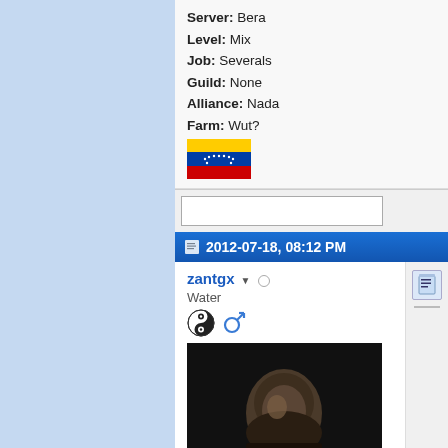Server: Bera
Level: Mix
Job: Severals
Guild: None
Alliance: Nada
Farm: Wut?
[Figure (illustration): Venezuela flag pixel art image]
2012-07-18, 08:12 PM
zantgx
Water
[Figure (photo): Dark photo of a bald elderly man looking down, appears to be a film/TV still]
IGN: Zantetsuken
Server: Scania
Job: Hayato
[Figure (illustration): US flag pixel art image]